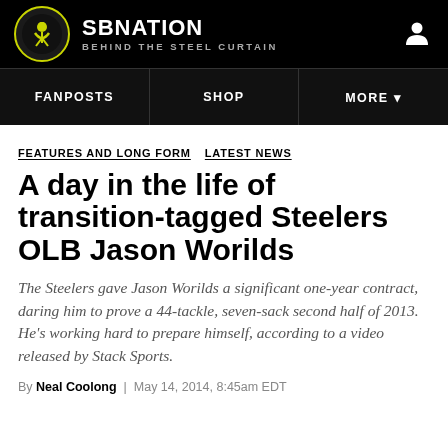SBNATION | BEHIND THE STEEL CURTAIN
FANPOSTS | SHOP | MORE
FEATURES AND LONG FORM   LATEST NEWS
A day in the life of transition-tagged Steelers OLB Jason Worilds
The Steelers gave Jason Worilds a significant one-year contract, daring him to prove a 44-tackle, seven-sack second half of 2013. He's working hard to prepare himself, according to a video released by Stack Sports.
By Neal Coolong | May 14, 2014, 8:45am EDT